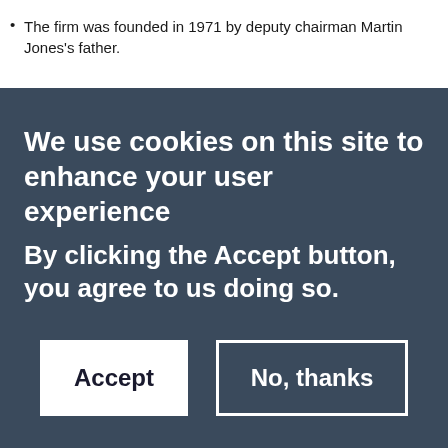The firm was founded in 1971 by deputy chairman Martin Jones's father.
We use cookies on this site to enhance your user experience
By clicking the Accept button, you agree to us doing so.
Accept
No, thanks